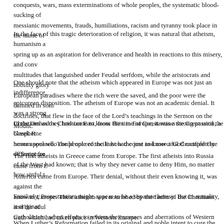conquests, wars, mass exterminations of whole peoples, the systematic blood-sucking of messianic movements, frauds, humiliations, racism and tyranny took place in the name of
In the face of this tragic deterioration of religion, it was natural that atheism, humanism and spring up as an aspiration for deliverance and health in reactions to this misery, and conv multitudes that languished under Feudal serfdom, while the aristocrats and nobility gloryf European paradises where the rich were the saved, and the poor were the damned in some doctrines, that flew in the face of the Lord’s teachings in the Sermon on the Mount.
One should note that the atheism which appeared in Europe was not just an indifference, epicurean disposition. The atheism of Europe was not an academic denial. It was a strong Christians as they had come to know Him in Europe; it was a strong passion, a blasphem human soul who could not reconcile how the just and merciful Crucified One of Scripture
In the Orthodox Christian East, from the time of Constantine the Great until the Greek R never appeared. The people of the East had come to know a God completely different from of the West had known; that is why they never came to deny Him, no matter how sinful t
The first atheists in Greece came from Europe. The first atheists into Russia came from E America came from Europe. Their denial, without their even knowing it, was against the G know in Europe. Their atheism was nourished by the faults of the Christians and the adulte truth which had taken place in Western Europe.
Similarly, Protestantism might appear to be a separate heresy. But in actuality, it originat Catholicism, when efforts to reform the excesses and aberrations of Western Christianity never had a religious position except protest.
When Luther’s Reformation failed in its original and noble intent to cure the excesses and